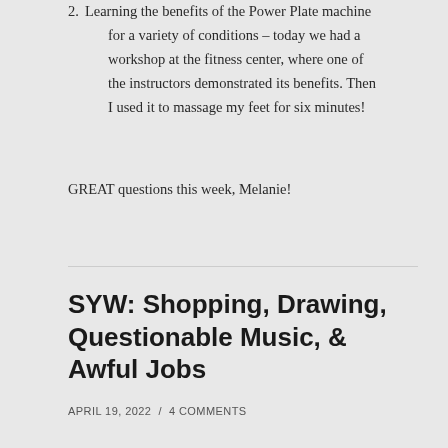2. Learning the benefits of the Power Plate machine for a variety of conditions – today we had a workshop at the fitness center, where one of the instructors demonstrated its benefits. Then I used it to massage my feet for six minutes!
GREAT questions this week, Melanie!
SYW: Shopping, Drawing, Questionable Music, & Awful Jobs
APRIL 19, 2022 / 4 COMMENTS